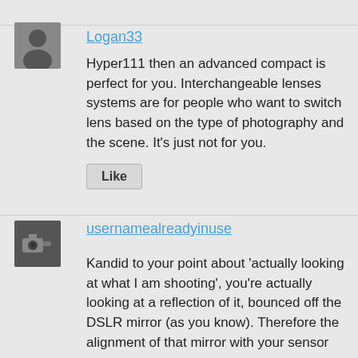[Figure (photo): Avatar photo of user Logan33 — silhouette of a person, dark gray background]
Logan33
Hyper111 then an advanced compact is perfect for you. Interchangeable lenses systems are for people who want to switch lens based on the type of photography and the scene. It's just not for you.
Like
[Figure (photo): Avatar photo of user usernamealreadyinuse — person holding a camera, dark background]
usernamealreadyinuse
Kandid to your point about 'actually looking at what I am shooting', you're actually looking at a reflection of it, bounced off the DSLR mirror (as you know). Therefore the alignment of that mirror with your sensor can create focusing issues, whereas with mirrorless you are seeing the actual light rays striking the sensor where focus is being physically achieved (or not). I won't even get into the limitations of trying to see through a DSLR's viewfinder in ultra-dark conditions and bearing to next to last all in